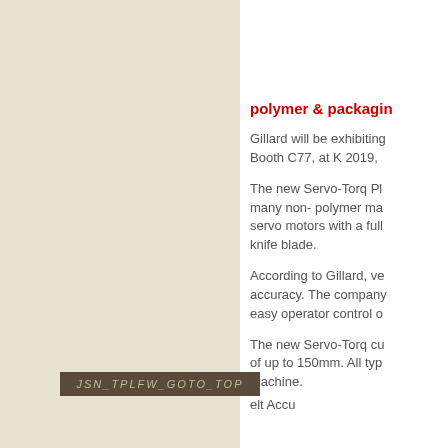polymer & packaging
Gillard will be exhibiting at Booth C77, at K 2019,
The new Servo-Torq Pl many non- polymer ma servo motors with a full knife blade.
According to Gillard, ve accuracy. The company easy operator control o
The new Servo-Torq cu of up to 150mm. All typ machine.
elt Accu